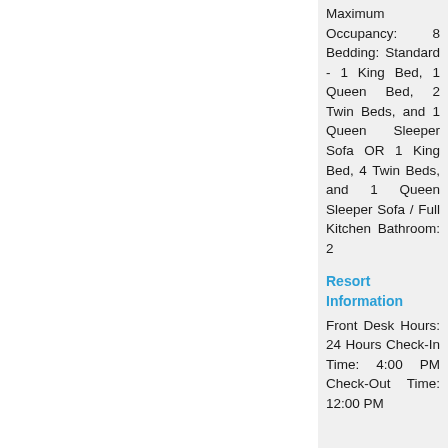Maximum Occupancy: 8 Bedding: Standard - 1 King Bed, 1 Queen Bed, 2 Twin Beds, and 1 Queen Sleeper Sofa OR 1 King Bed, 4 Twin Beds, and 1 Queen Sleeper Sofa / Full Kitchen Bathroom: 2
Resort Information
Front Desk Hours: 24 Hours Check-In Time: 4:00 PM Check-Out Time: 12:00 PM